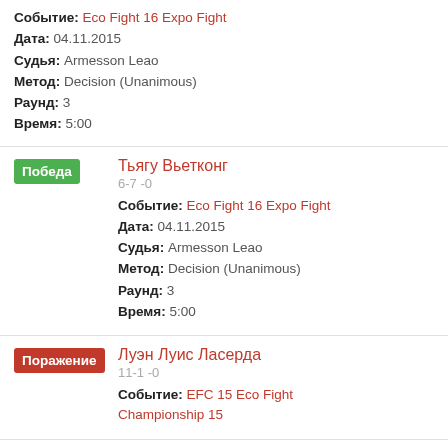Событие: Eco Fight 16 Expo Fight
Дата: 04.11.2015
Судья: Armesson Leao
Метод: Decision (Unanimous)
Раунд: 3
Время: 5:00
Победа
Тьягу Вьетконг
6-7 -0
Событие: Eco Fight 16 Expo Fight
Дата: 04.11.2015
Судья: Armesson Leao
Метод: Decision (Unanimous)
Раунд: 3
Время: 5:00
Поражение
Луэн Луис Ласерда
11-1 -0
Событие: EFC 15 Eco Fight Championship 15